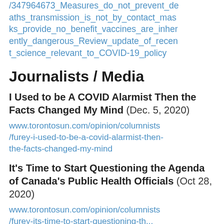/347964673_Measures_do_not_prevent_deaths_transmission_is_not_by_contact_masks_provide_no_benefit_vaccines_are_inherently_dangerous_Review_update_of_recent_science_relevant_to_COVID-19_policy
Journalists / Media
I Used to be A COVID Alarmist Then the Facts Changed My Mind (Dec. 5, 2020)
www.torontosun.com/opinion/columnists/furey-i-used-to-be-a-covid-alarmist-then-the-facts-changed-my-mind
It's Time to Start Questioning the Agenda of Canada's Public Health Officials (Oct 28, 2020)
www.torontosun.com/opinion/columnists/furey-its-time-to-start-questioning-the...